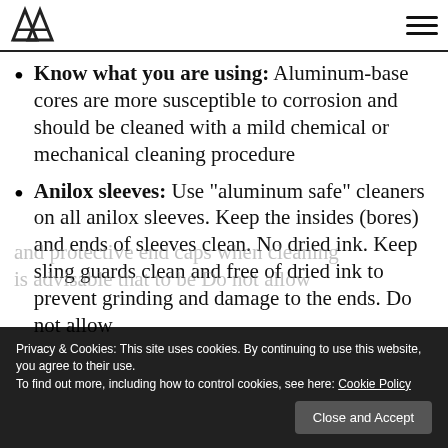FLO [logo] / hamburger menu
Know what you are using: Aluminum-base cores are more susceptible to corrosion and should be cleaned with a mild chemical or mechanical cleaning procedure
Anilox sleeves: Use “aluminum safe” cleaners on all anilox sleeves. Keep the insides (bores) and ends of sleeves clean. No dried ink. Keep sling guards clean and free of dried ink to prevent grinding and damage to the ends. Do not allow...
and protective end caps when cleaning is advisable that to be Do not allow...
Privacy & Cookies: This site uses cookies. By continuing to use this website, you agree to their use.
To find out more, including how to control cookies, see here: Cookie Policy
Close and Accept